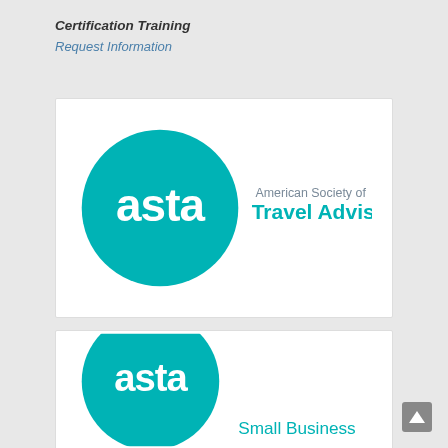Certification Training
Request Information
[Figure (logo): ASTA American Society of Travel Advisors logo — teal circle with white 'asta' text, beside 'American Society of Travel Advisors' in grey and teal text]
[Figure (logo): Partial ASTA Small Business logo — teal circle partially visible with 'Small Business' text]